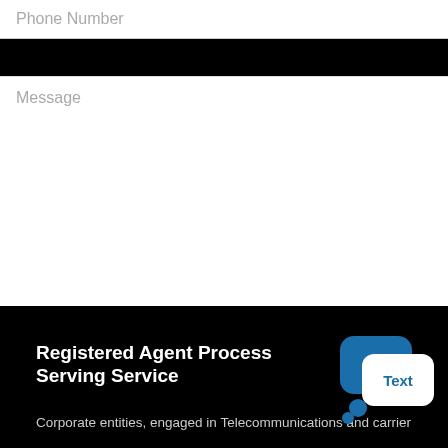[Figure (screenshot): Phone number input field with placeholder text]
[Figure (screenshot): Message textarea with placeholder text]
[Figure (screenshot): Green Send button]
Registered Agent Process Serving Service
Corporate entities, engaged in Telecommunications and carrier